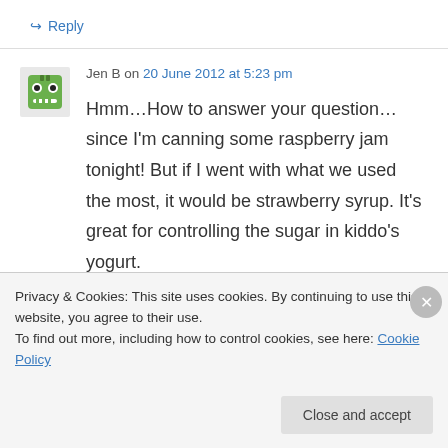↪ Reply
Jen B on 20 June 2012 at 5:23 pm
Hmm…How to answer your question…since I'm canning some raspberry jam tonight! But if I went with what we used the most, it would be strawberry syrup. It's great for controlling the sugar in kiddo's yogurt.
↪ Reply
Privacy & Cookies: This site uses cookies. By continuing to use this website, you agree to their use.
To find out more, including how to control cookies, see here: Cookie Policy
Close and accept